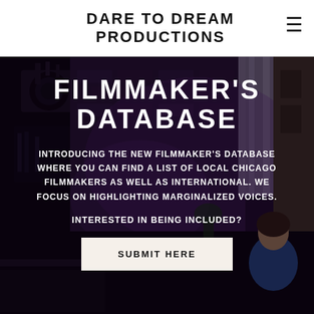DARE TO DREAM PRODUCTIONS
[Figure (photo): Dark film set background with camera equipment on the left, a brick wall with purple lighting, curtains, and a person in a blue turtleneck seated on the right side.]
FILMMAKER'S DATABASE
INTRODUCING THE NEW FILMMAKER'S DATABASE WHERE YOU CAN FIND A LIST OF LOCAL CHICAGO FILMMAKERS AS WELL AS INTERNATIONAL. WE FOCUS ON HIGHLIGHTING MARGINALIZED VOICES.
INTERESTED IN BEING INCLUDED?
SUBMIT HERE